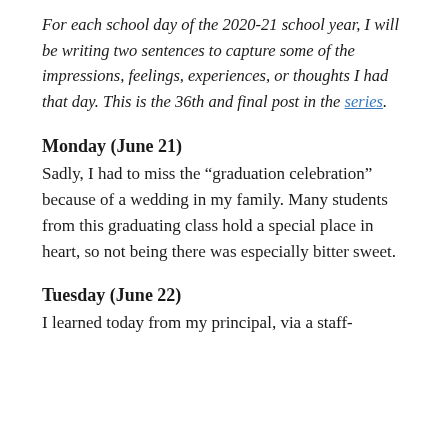For each school day of the 2020-21 school year, I will be writing two sentences to capture some of the impressions, feelings, experiences, or thoughts I had that day. This is the 36th and final post in the series.
Monday (June 21)
Sadly, I had to miss the “graduation celebration” because of a wedding in my family. Many students from this graduating class hold a special place in heart, so not being there was especially bitter sweet.
Tuesday (June 22)
I learned today from my principal, via a staff-